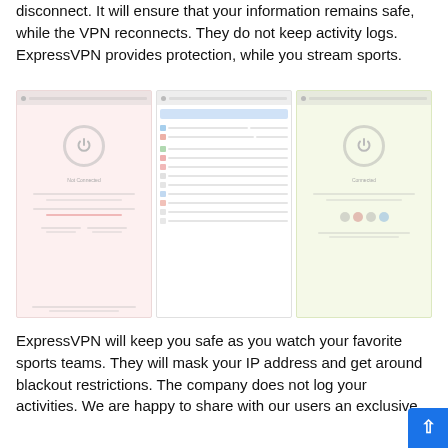disconnect. It will ensure that your information remains safe, while the VPN reconnects. They do not keep activity logs. ExpressVPN provides protection, while you stream sports.
[Figure (screenshot): Three screenshots of VPN application interfaces side by side. Left panel has pinkish/red tinted background showing a VPN power button UI. Center panel shows a white interface with list of server options and a teal/blue connected status bar. Right panel has a light yellow-green tinted background showing another VPN power button UI with social/brand icons at the bottom.]
ExpressVPN will keep you safe as you watch your favorite sports teams. They will mask your IP address and get around blackout restrictions. The company does not log your activities. We are happy to share with our users an exclusive